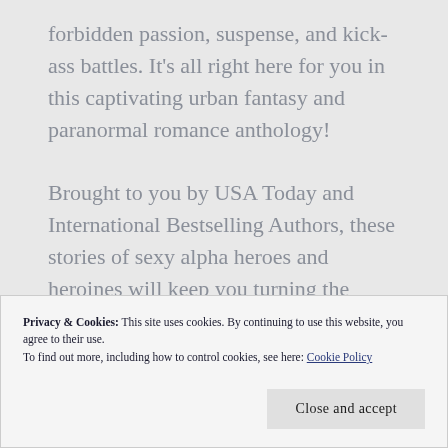forbidden passion, suspense, and kick-ass battles. It's all right here for you in this captivating urban fantasy and paranormal romance anthology!
Brought to you by USA Today and International Bestselling Authors, these stories of sexy alpha heroes and heroines will keep you turning the pages. Devils, demons and their lethal hunters will draw you into
Privacy & Cookies: This site uses cookies. By continuing to use this website, you agree to their use.
To find out more, including how to control cookies, see here: Cookie Policy
Close and accept